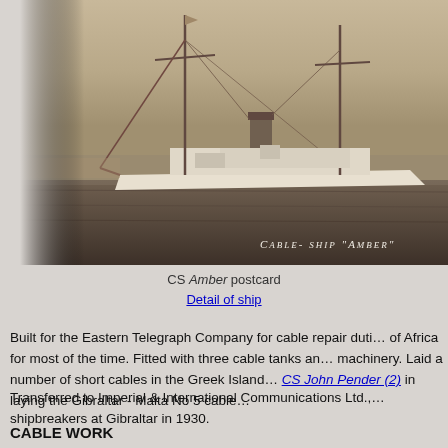[Figure (photo): Sepia/black-and-white photograph of cable ship Amber at sea. The ship has two masts and a smokestack. Text on photo reads: CABLE-SHIP "AMBER"]
CS Amber postcard
Detail of ship
Built for the Eastern Telegraph Company for cable repair duties off the coast of Africa for most of the time. Fitted with three cable tanks and all necessary machinery. Laid a number of short cables in the Greek Islands and assisted CS John Pender (2) in laying the Gibraltar - Malta No 5 cable.
Transferred to Imperial & International Communications Ltd., and sold to shipbreakers at Gibraltar in 1930.
CABLE WORK